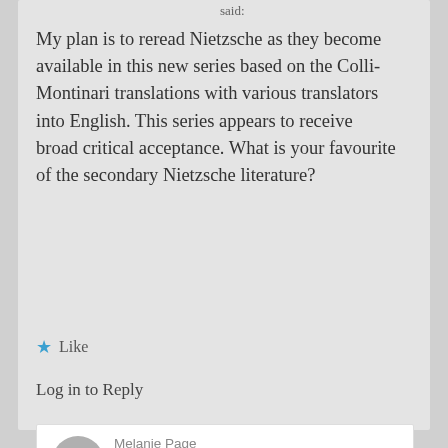said:
My plan is to reread Nietzsche as they become available in this new series based on the Colli-Montinari translations with various translators into English. This series appears to receive broad critical acceptance. What is your favourite of the secondary Nietzsche literature?
★ Like
Log in to Reply
Melanie Page
on January 13, 2015 at 17:16 said:
I don't know that I have a FAVORITE, per se, I just know